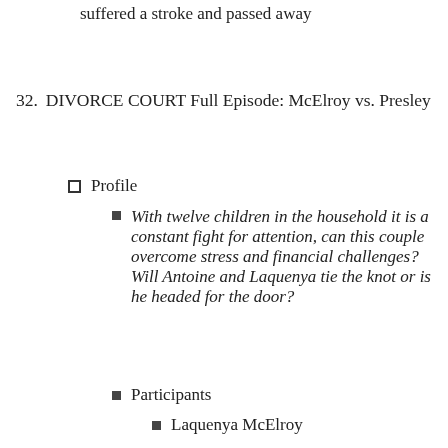suffered a stroke and passed away
32. DIVORCE COURT Full Episode: McElroy vs. Presley
Profile
With twelve children in the household it is a constant fight for attention, can this couple overcome stress and financial challenges? Will Antoine and Laquenya tie the knot or is he headed for the door?
Participants
Laquenya McElroy
Antoine Presley
Videos
DIVORCE COURT Full Episode: